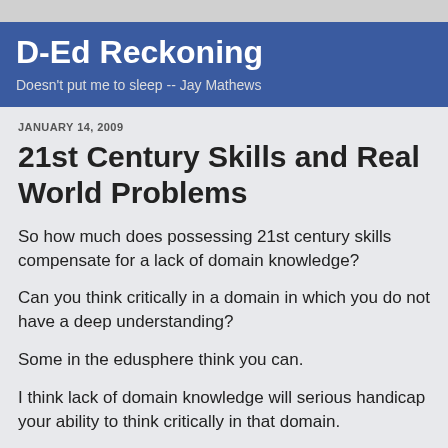D-Ed Reckoning
Doesn't put me to sleep -- Jay Mathews
JANUARY 14, 2009
21st Century Skills and Real World Problems
So how much does possessing 21st century skills compensate for a lack of domain knowledge?
Can you think critically in a domain in which you do not have a deep understanding?
Some in the edusphere think you can.
I think lack of domain knowledge will serious handicap your ability to think critically in that domain.